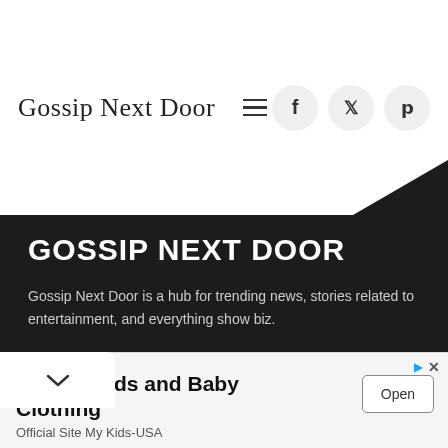Gossip Next Door
GOSSIP NEXT DOOR
Gossip Next Door is a hub for trending news, stories related to entertainment, and everything show biz.
Quality Kids and Baby Clothing
Official Site My Kids-USA